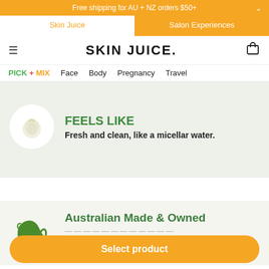Free shipping for AU + NZ orders $50+
Skin Juice | Salon Experiences
SKIN JUICE.
PICK + MIX   Face   Body   Pregnancy   Travel
FEELS LIKE
Fresh and clean, like a micellar water.
Australian Made & Owned
Select product